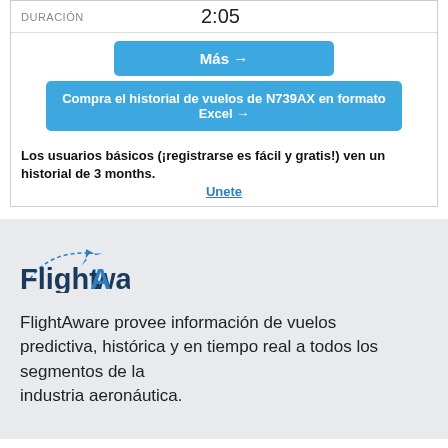| DURACIÓN |  |
| --- | --- |
| DURACIÓN | 2:05 |
Más →
Compra el historial de vuelos de N739AX en formato Excel →
Los usuarios básicos (¡registrarse es fácil y gratis!) ven un historial de 3 months.
Unete
[Figure (logo): FlightAware logo with airplane icon and dashed flight path]
FlightAware provee información de vuelos predictiva, histórica y en tiempo real a todos los segmentos de la industria aeronáutica.